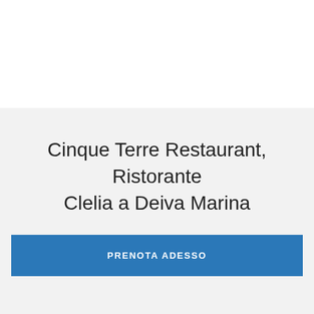Cinque Terre Restaurant, Ristorante Clelia a Deiva Marina
PRENOTA ADESSO